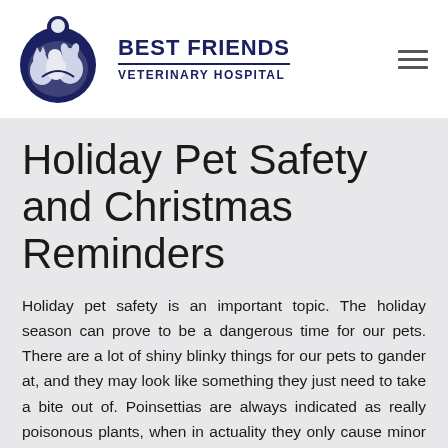[Figure (logo): Best Friends Veterinary Hospital logo: circular dark blue emblem with stylized animals (cats and dogs) and a person silhouette]
BEST FRIENDS
VETERINARY HOSPITAL
Holiday Pet Safety and Christmas Reminders
Holiday pet safety is an important topic. The holiday season can prove to be a dangerous time for our pets. There are a lot of shiny blinky things for our pets to gander at, and they may look like something they just need to take a bite out of. Poinsettias are always indicated as really poisonous plants, when in actuality they only cause minor signs such as salivations when ingested by pets. Much more of a concern is the Mistletoe being...